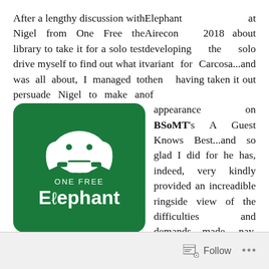After a lengthy discussion with Nigel from One Free Elephant at Airecon 2018 about developing the solo variant for Carcosa...and then having taken it out of the library to take it for a solo test drive myself to find out what it was all about, I managed to persuade Nigel to make an appearance on BSoMT's A Guest Knows Best...and so glad I did for he has, indeed, very kindly provided an increadible ringside view of the difficulties and demands made, nay, thrust upon designers by the solitaire element of the gaming world.
[Figure (logo): One Free Elephant logo — green rounded rectangle with white elephant head silhouette and text 'ONE FREE Elephant']
Follow ...